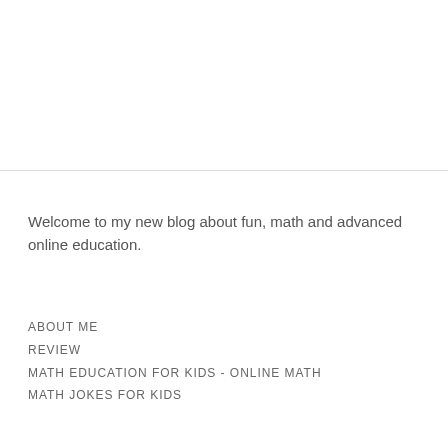Welcome to my new blog about fun, math and advanced online education.
ABOUT ME
REVIEW
MATH EDUCATION FOR KIDS - ONLINE MATH
MATH JOKES FOR KIDS